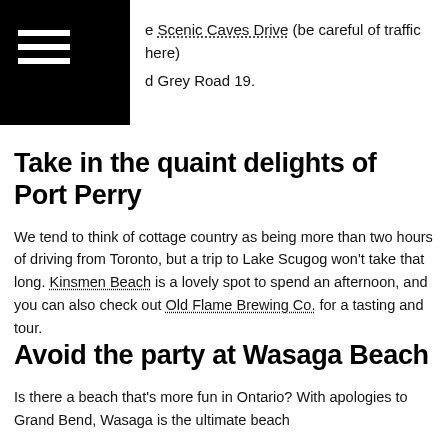e Scenic Caves Drive (be careful of traffic here)
d Grey Road 19.
Take in the quaint delights of Port Perry
We tend to think of cottage country as being more than two hours of driving from Toronto, but a trip to Lake Scugog won't take that long. Kinsmen Beach is a lovely spot to spend an afternoon, and you can also check out Old Flame Brewing Co. for a tasting and tour.
Avoid the party at Wasaga Beach
Is there a beach that's more fun in Ontario? With apologies to Grand Bend, Wasaga is the ultimate beach destination for Torontonians. With so many around, for all